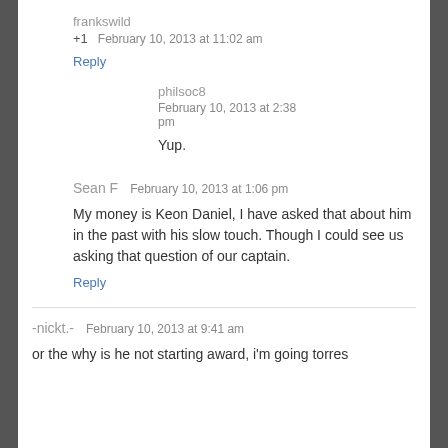frankswild
+1   February 10, 2013 at 11:02 am
Reply
philsoc8
February 10, 2013 at 2:38 pm
Yup.
Sean F   February 10, 2013 at 1:06 pm
My money is Keon Daniel, I have asked that about him in the past with his slow touch. Though I could see us asking that question of our captain.
Reply
-nickt.-   February 10, 2013 at 9:41 am
or the why is he not starting award, i'm going torres